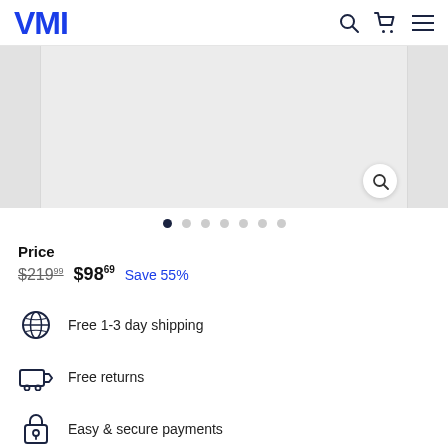VMI
[Figure (screenshot): Product image carousel with light gray placeholder image area, navigation arrows on sides, and a zoom/search button in bottom-right corner]
● ○ ○ ○ ○ ○ ○
Price
$219.99  $98.69  Save 55%
Free 1-3 day shipping
Free returns
Easy & secure payments